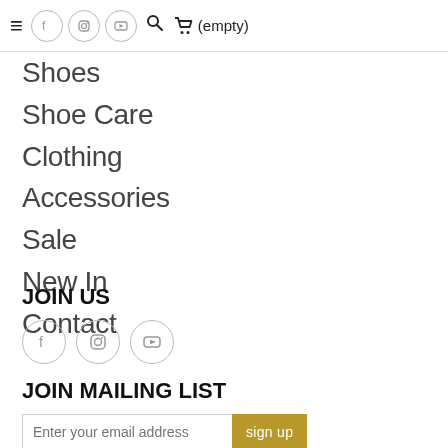≡ [facebook] [instagram] [youtube] 🔍 🛒 (empty)
Shoes
Shoe Care
Clothing
Accessories
Sale
New In
Contact
JOIN US
[Figure (other): Social media icons: Facebook, Instagram, YouTube in circles]
JOIN MAILING LIST
[Figure (other): Email input field with placeholder 'Enter your email address' and a gold 'sign up' button]